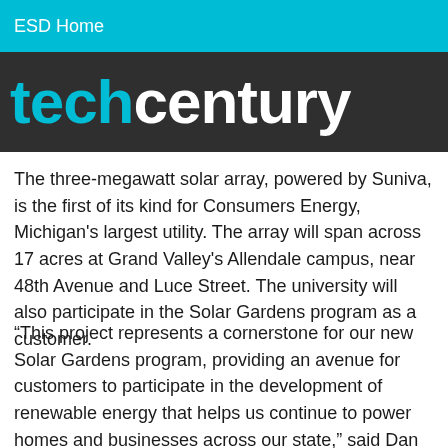ESD Home
[Figure (logo): techcentury logo in large white and cyan text on dark background overlay]
solar power cells and modules, announced the community solar project, a partnership of Grand Valley State University and Consumers Energy's Solar Gardens program.
The three-megawatt solar array, powered by Suniva, is the first of its kind for Consumers Energy, Michigan's largest utility. The array will span across 17 acres at Grand Valley's Allendale campus, near 48th Avenue and Luce Street. The university will also participate in the Solar Gardens program as a customer.
“This project represents a cornerstone for our new Solar Gardens program, providing an avenue for customers to participate in the development of renewable energy that helps us continue to power homes and businesses across our state,” said Dan Malone, Consumers Energy’s senior vice president of energy resources.